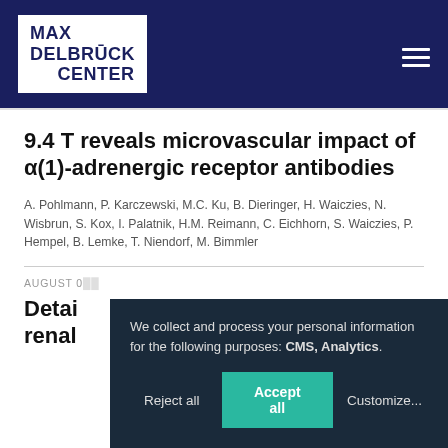[Figure (logo): Max Delbrück Center logo — white box with dark blue text on dark blue header bar]
9.4 T reveals microvascular impact of α(1)-adrenergic receptor antibodies
A. Pohlmann, P. Karczewski, M.C. Ku, B. Dieringer, H. Waiczies, N. Wisbrun, S. Kox, I. Palatnik, H.M. Reimann, C. Eichhorn, S. Waiczies, P. Hempel, B. Lemke, T. Niendorf, M. Bimmler
AUGUST 0...
Detai... renal...
We collect and process your personal information for the following purposes: CMS, Analytics.
Reject all  Accept all  Customize...